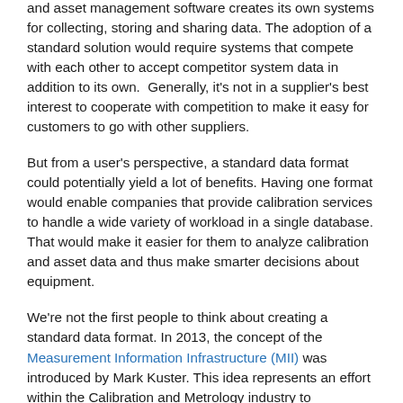and asset management software creates its own systems for collecting, storing and sharing data. The adoption of a standard solution would require systems that compete with each other to accept competitor system data in addition to its own.  Generally, it's not in a supplier's best interest to cooperate with competition to make it easy for customers to go with other suppliers.
But from a user's perspective, a standard data format could potentially yield a lot of benefits. Having one format would enable companies that provide calibration services to handle a wide variety of workload in a single database. That would make it easier for them to analyze calibration and asset data and thus make smarter decisions about equipment.
We're not the first people to think about creating a standard data format. In 2013, the concept of the Measurement Information Infrastructure (MII) was introduced by Mark Kuster. This idea represents an effort within the Calibration and Metrology industry to standardize formats for a variety of data types, including scopes of accreditation, instrument specifications, and calibration data. While the MII has focused its early work on scopes of accreditation, it